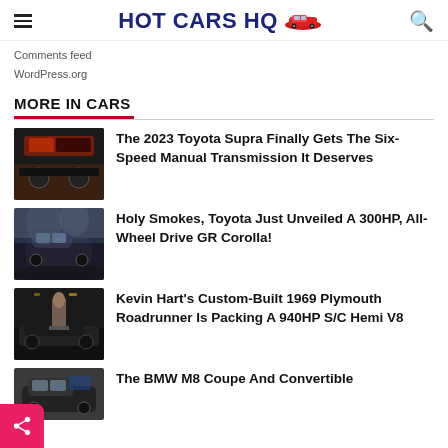HOT CARS HQ
Comments feed
WordPress.org
MORE IN CARS
[Figure (photo): Toyota Supra interior and exterior thumbnail]
The 2023 Toyota Supra Finally Gets The Six-Speed Manual Transmission It Deserves
[Figure (photo): Toyota GR Corolla dark moody car photo]
Holy Smokes, Toyota Just Unveiled A 300HP, All-Wheel Drive GR Corolla!
[Figure (photo): Kevin Hart standing next to 1969 Plymouth Roadrunner at night]
Kevin Hart's Custom-Built 1969 Plymouth Roadrunner Is Packing A 940HP S/C Hemi V8
[Figure (photo): BMW M8 thumbnail partial]
The BMW M8 Coupe And Convertible